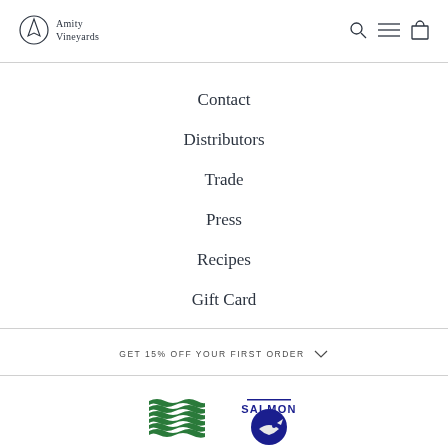Amity Vineyards
Contact
Distributors
Trade
Press
Recipes
Gift Card
GET 15% OFF YOUR FIRST ORDER
[Figure (logo): Two logos at bottom: green wave/stripe logo and SALMON logo with fish icon in blue circle]